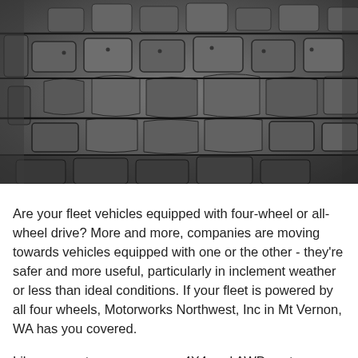[Figure (photo): Close-up photograph of aggressive off-road tire tread with deep knobby lugs, dark gray/black rubber, showing the tread pattern in detail.]
Are your fleet vehicles equipped with four-wheel or all-wheel drive? More and more, companies are moving towards vehicles equipped with one or the other - they're safer and more useful, particularly in inclement weather or less than ideal conditions. If your fleet is powered by all four wheels, Motorworks Northwest, Inc in Mt Vernon, WA has you covered.
Like any system on your car, 4X4 and AWD systems